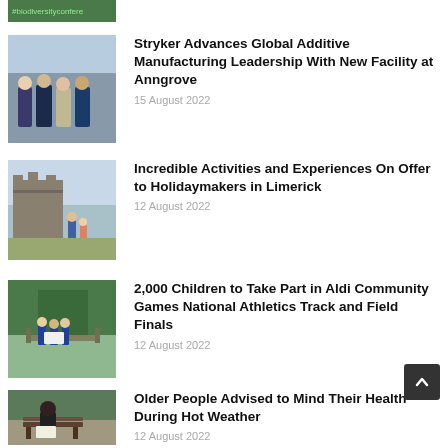[Figure (photo): Partial thumbnail showing #biodiversityconfere text on green background]
[Figure (photo): Four men in suits standing outdoors]
Stryker Advances Global Additive Manufacturing Leadership With New Facility at Anngrove
15 August 2022
[Figure (photo): Castle ruins with people in foreground]
Incredible Activities and Experiences On Offer to Holidaymakers in Limerick
12 August 2022
[Figure (photo): Group of children outdoors with papers]
2,000 Children to Take Part in Aldi Community Games National Athletics Track and Field Finals
12 August 2022
[Figure (photo): Older person sitting on bench reading]
Older People Advised to Mind Their Health During Hot Weather
12 August 2022